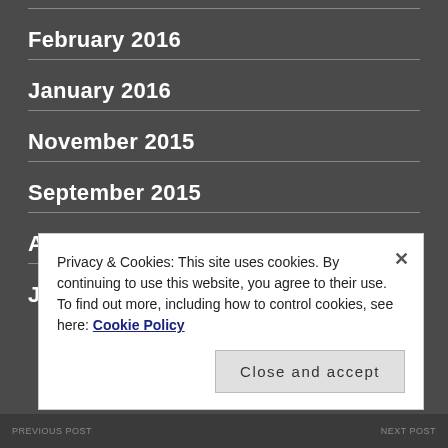February 2016
January 2016
November 2015
September 2015
August 2015
July 2015
Privacy & Cookies: This site uses cookies. By continuing to use this website, you agree to their use.
To find out more, including how to control cookies, see here: Cookie Policy
Close and accept